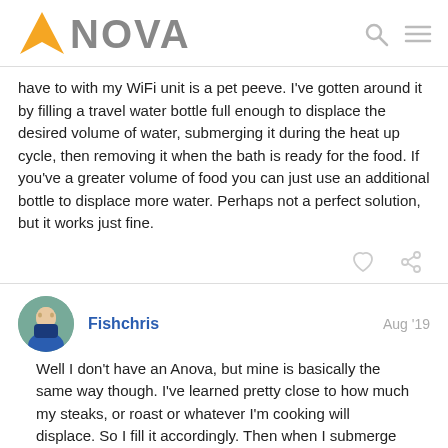ANOVA
have to with my WiFi unit is a pet peeve. I've gotten around it by filling a travel water bottle full enough to displace the desired volume of water, submerging it during the heat up cycle, then removing it when the bath is ready for the food. If you've a greater volume of food you can just use an additional bottle to displace more water. Perhaps not a perfect solution, but it works just fine.
Fishchris  Aug '19
Well I don't have an Anova, but mine is basically the same way though. I've learned pretty close to how much my steaks, or roast or whatever I'm cooking will displace. So I fill it accordingly. Then when I submerge the meat it comes up pretty close to the max line. Honestly, if I have to add a little more hot tap water, it only takes a few minutes to get back to temp. I'm